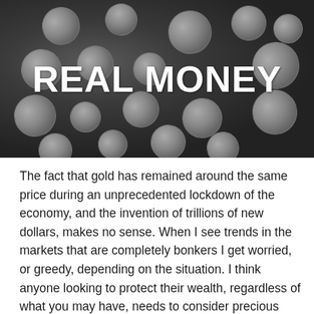[Figure (photo): Overhead photograph of silver bullion coins scattered on a dark surface, with white bold text overlay reading 'REAL MONEY']
The fact that gold has remained around the same price during an unprecedented lockdown of the economy, and the invention of trillions of new dollars, makes no sense. When I see trends in the markets that are completely bonkers I get worried, or greedy, depending on the situation. I think anyone looking to protect their wealth, regardless of what you may have, needs to consider precious metals. Silver and gold jewelry are